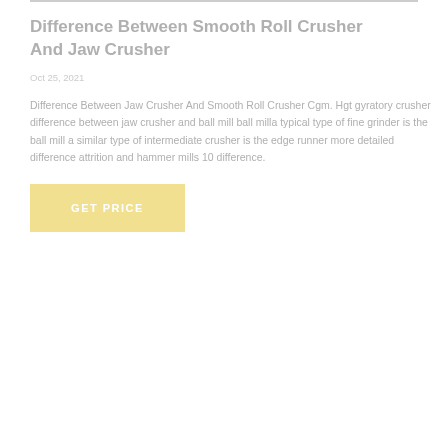Difference Between Smooth Roll Crusher And Jaw Crusher
Oct 25, 2021
Difference Between Jaw Crusher And Smooth Roll Crusher Cgm. Hgt gyratory crusher difference between jaw crusher and ball mill ball milla typical type of fine grinder is the ball mill a similar type of intermediate crusher is the edge runner more detailed difference attrition and hammer mills 10 difference.
GET PRICE